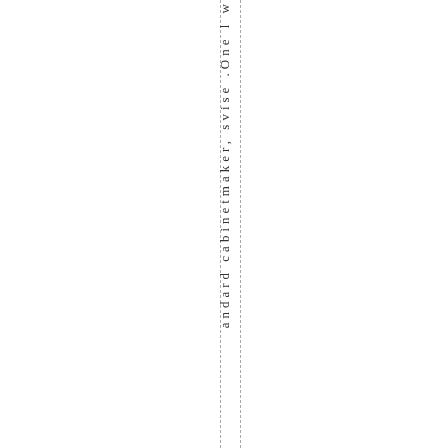andard cabinetmaker, svise .One l w